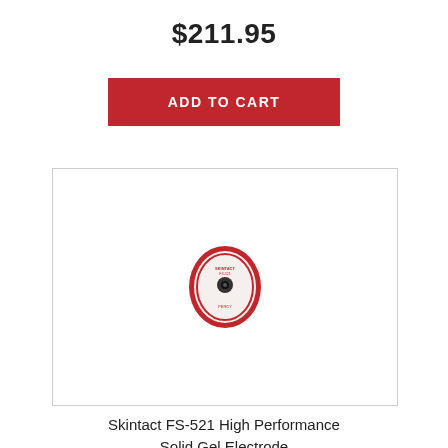$211.95
ADD TO CART
[Figure (photo): Product photo of Skintact FS-521 High Performance Solid Gel Electrode — an oval-shaped white electrode pad with red border and a black snap connector in the center, with small red text reading the brand and product name.]
Skintact FS-521 High Performance Solid Gel Electrode